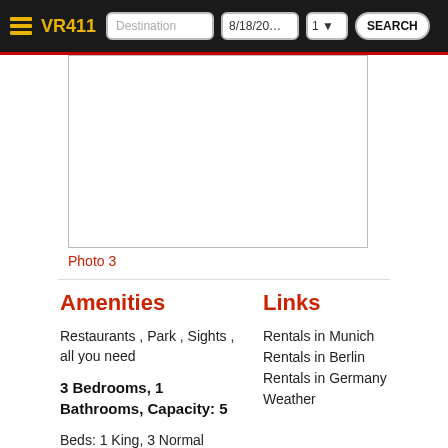VR411  Destination  8/18/20...  1  SEARCH
[Figure (photo): Empty white photo box (Photo 3 placeholder)]
Photo 3
Amenities
Restaurants , Park , Sights , all you need
3 Bedrooms, 1 Bathrooms, Capacity: 5
Beds: 1 King, 3 Normal Single Beds
Links
Rentals in Munich
Rentals in Berlin
Rentals in Germany
Weather